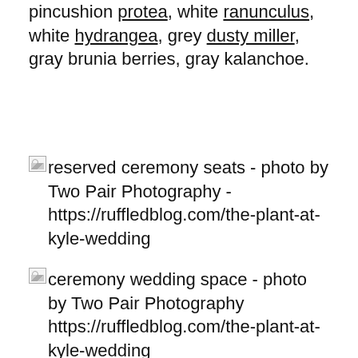pincushion protea, white ranunculus, white hydrangea, grey dusty miller, gray brunia berries, gray kalanchoe.
[Figure (photo): Broken image placeholder with alt text: reserved ceremony seats - photo by Two Pair Photography - https://ruffledblog.com/the-plant-at-kyle-wedding]
[Figure (photo): Broken image placeholder with alt text: ceremony wedding space - photo by Two Pair Photography https://ruffledblog.com/the-plant-at-kyle-wedding]
[Figure (photo): Two side-by-side wedding venue photos: left shows hanging paper lanterns with warm lights in a dark venue interior; right shows balloon arch with white and teal balloons against an industrial ceiling with green trees visible outside. Bottom portion shows blurred/faded continuation of the same images.]